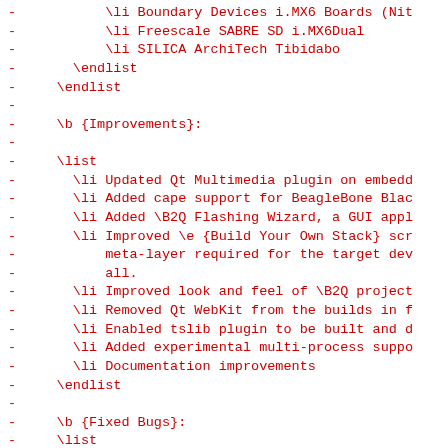-           \li Boundary Devices i.MX6 Boards (Nit
-           \li Freescale SABRE SD i.MX6Dual
-           \li SILICA ArchiTech Tibidabo
-       \endlist
-     \endlist
-
-     \b {Improvements}:
-
-     \list
-       \li Updated Qt Multimedia plugin on embedd
-       \li Added cape support for BeagleBone Blac
-       \li Added \B2Q Flashing Wizard, a GUI appl
-       \li Improved \e {Build Your Own Stack} scr
-           meta-layer required for the target dev
-           all.
-       \li Improved look and feel of \B2Q project
-       \li Removed Qt WebKit from the builds in f
-       \li Enabled tslib plugin to be built and d
-       \li Added experimental multi-process suppo
-       \li Documentation improvements
-     \endlist
-
-     \b {Fixed Bugs}:
-     \list
-       \li eLinux emulator: Added gstreamer plugi
-       \li Fixed updating IP address/hostname of
-       \li Fixed missing/incomplete debugging inf
-     \endlist
-
-     \section1 \B2Q 3.2.0